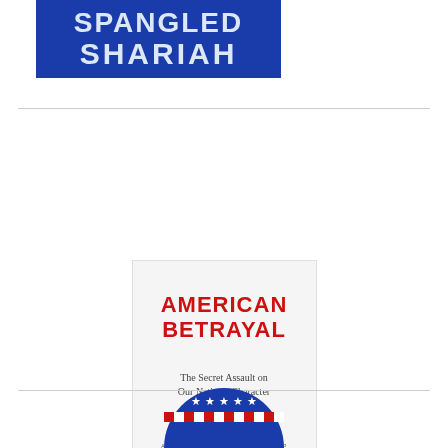[Figure (illustration): Book cover: Star-Spangled Shariah — blue background with white bold text showing partial title 'SPANGLED' at top and 'SHARIAH' in large letters below]
[Figure (illustration): Book cover: American Betrayal by Diana West — light grey/white background with large red bold text 'AMERICAN BETRAYAL', subtitle 'The Secret Assault on Our Nation's Character', author name 'DIANA WEST' in dark blue, and small text 'AUTHOR OF THE DEATH OF THE GROWN-UP']
[Figure (illustration): Partial book cover showing bottom portion: a circular badge or seal with stars and red/white stripes on blue background, cropped at bottom of page]